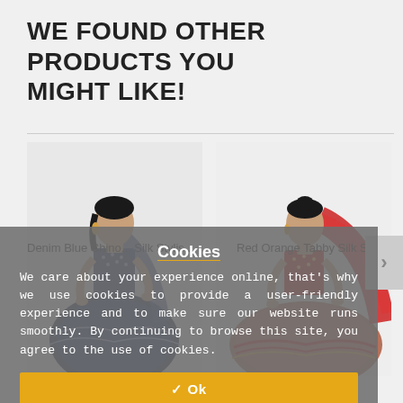WE FOUND OTHER PRODUCTS YOU MIGHT LIKE!
[Figure (photo): Woman wearing a denim blue embroidered lehenga choli set with dupatta, standing against a light background.]
[Figure (photo): Woman wearing a red orange tabby silk lehenga with heavy embroidery and dupatta, standing against a light background.]
Cookies
We care about your experience online, that’s why we use cookies to provide a user-friendly experience and to make sure our website runs smoothly. By continuing to browse this site, you agree to the use of cookies.
✓ Ok
Denim Blue Chino... Silk Stylis...
Red Orange Tabby Silk Stylish...